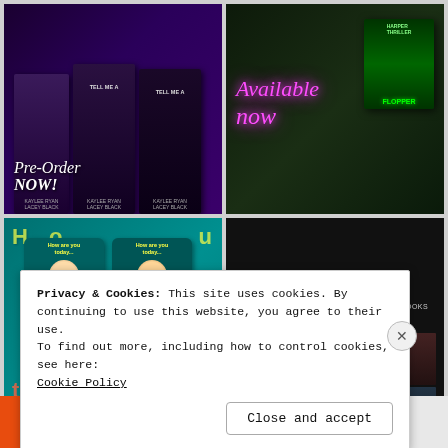[Figure (photo): Top-left: Book covers for 'Tell Me A...' by Kaylee Ryan and Lacey Black with Pre-Order NOW text overlay]
[Figure (photo): Top-right: 'Available now' in neon pink text with a book cover 'Flopper' on green background]
[Figure (photo): Bottom-left: Multiple copies of 'How are you today' children's book with cartoon faces on teal background]
[Figure (photo): Bottom-right: THE #TNTNYC22 EXCLUSIVE ANTHOLOGY EBOOKS - PREORDER THEM ALL! grid of book covers on dark background]
Privacy & Cookies: This site uses cookies. By continuing to use this website, you agree to their use.
To find out more, including how to control cookies, see here:
Cookie Policy
Close and accept
[Figure (screenshot): Bottom bar: orange section with 'All in One Free App' text and DuckDuckGo logo on grey]